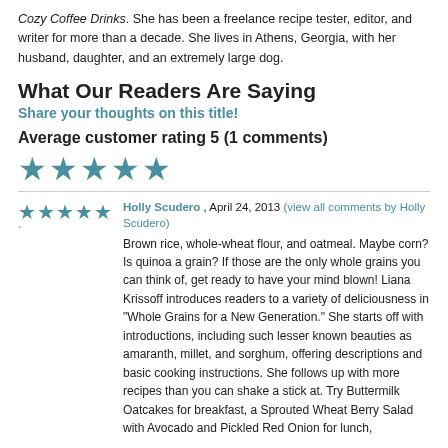Cozy Coffee Drinks. She has been a freelance recipe tester, editor, and writer for more than a decade. She lives in Athens, Georgia, with her husband, daughter, and an extremely large dog.
What Our Readers Are Saying
Share your thoughts on this title!
Average customer rating 5 (1 comments)
[Figure (other): Five teal star rating icons (large)]
[Figure (other): Five teal star rating icons (small, inline with review)]
Holly Scudero , April 24, 2013 (view all comments by Holly Scudero)
Brown rice, whole-wheat flour, and oatmeal. Maybe corn? Is quinoa a grain? If those are the only whole grains you can think of, get ready to have your mind blown! Liana Krissoff introduces readers to a variety of deliciousness in "Whole Grains for a New Generation." She starts off with introductions, including such lesser known beauties as amaranth, millet, and sorghum, offering descriptions and basic cooking instructions. She follows up with more recipes than you can shake a stick at. Try Buttermilk Oatcakes for breakfast, a Sprouted Wheat Berry Salad with Avocado and Pickled Red Onion for lunch,